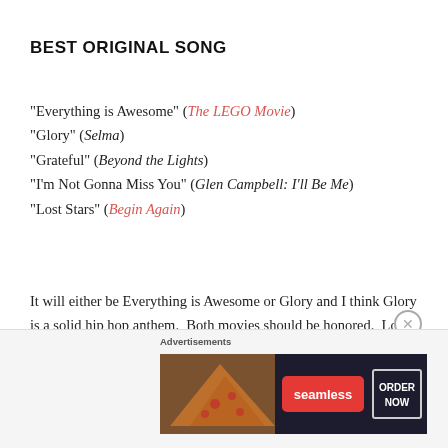BEST ORIGINAL SONG
"Everything is Awesome" (The LEGO Movie)
"Glory" (Selma)
"Grateful" (Beyond the Lights)
"I'm Not Gonna Miss You" (Glen Campbell: I'll Be Me)
"Lost Stars" (Begin Again)
It will either be Everything is Awesome or Glory and I think Glory is a solid hip hop anthem.  Both movies should be honored.  Lost Stars is probably the best written song of the group but Everything is Awesome is
Advertisements
[Figure (screenshot): Seamless food delivery advertisement banner with pizza image, red Seamless logo button, and ORDER NOW outlined button on dark background]